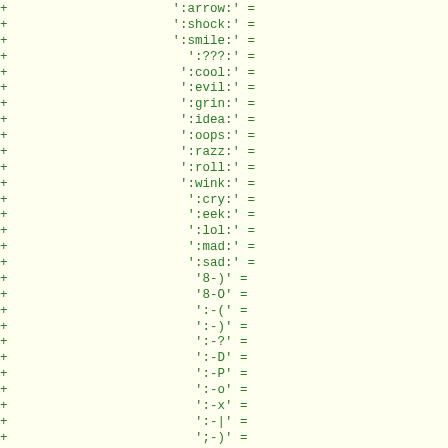Code diff showing added lines with emoji/smiley shortcodes and symbol mappings